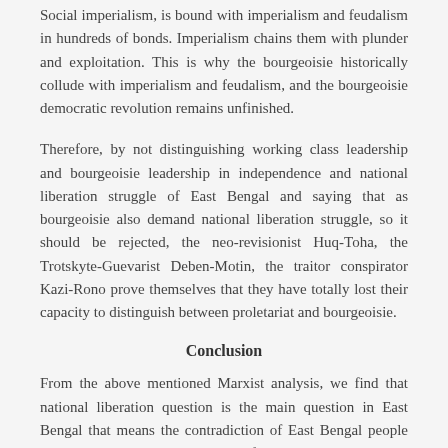Social imperialism, is bound with imperialism and feudalism in hundreds of bonds. Imperialism chains them with plunder and exploitation. This is why the bourgeoisie historically collude with imperialism and feudalism, and the bourgeoisie democratic revolution remains unfinished.
Therefore, by not distinguishing working class leadership and bourgeoisie leadership in independence and national liberation struggle of East Bengal and saying that as bourgeoisie also demand national liberation struggle, so it should be rejected, the neo-revisionist Huq-Toha, the Trotskyte-Guevarist Deben-Motin, the traitor conspirator Kazi-Rono prove themselves that they have totally lost their capacity to distinguish between proletariat and bourgeoisie.
Conclusion
From the above mentioned Marxist analysis, we find that national liberation question is the main question in East Bengal that means the contradiction of East Bengal people with colonial ruling regime of Pakistan is principal contradiction.
The neo-revisionist Huq-Toha, the Trotskyite-Guevarist Deben-Motin, the traitor conspirator Kazi-Rono by saying (since a few